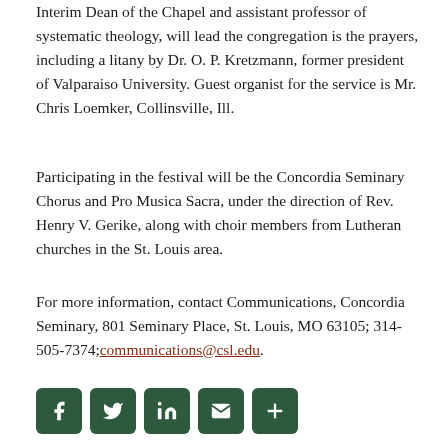Interim Dean of the Chapel and assistant professor of systematic theology, will lead the congregation is the prayers, including a litany by Dr. O. P. Kretzmann, former president of Valparaiso University. Guest organist for the service is Mr. Chris Loemker, Collinsville, Ill.
Participating in the festival will be the Concordia Seminary Chorus and Pro Musica Sacra, under the direction of Rev. Henry V. Gerike, along with choir members from Lutheran churches in the St. Louis area.
For more information, contact Communications, Concordia Seminary, 801 Seminary Place, St. Louis, MO 63105; 314-505-7374; communications@csl.edu.
[Figure (other): Social media sharing icons: Facebook, Twitter, LinkedIn, Email, and a share/plus button, displayed as dark green rounded square buttons.]